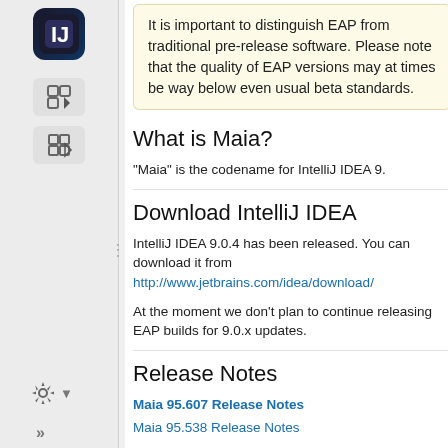It is important to distinguish EAP from traditional pre-release software. Please note that the quality of EAP versions may at times be way below even usual beta standards.
What is Maia?
"Maia" is the codename for IntelliJ IDEA 9.
Download IntelliJ IDEA
IntelliJ IDEA 9.0.4 has been released. You can download it from http://www.jetbrains.com/idea/download/
At the moment we don't plan to continue releasing EAP builds for 9.0.x updates.
Release Notes
Maia 95.607 Release Notes
Maia 95.538 Release Notes